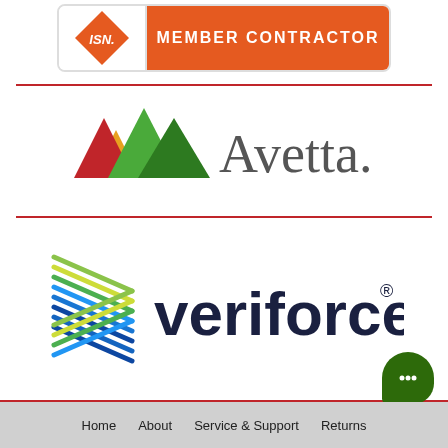[Figure (logo): ISN Member Contractor badge — orange and white rectangular badge with ISN diamond logo on left and 'MEMBER CONTRACTOR' text on orange right panel]
[Figure (logo): Avetta logo — multicolored mountain-peak icon in green, orange, red and yellow followed by 'Avetta.' wordmark in dark gray serif font]
[Figure (logo): Veriforce logo — stylized chevron arrow made of green, blue and teal diagonal lines, followed by 'veriforce' wordmark in dark navy bold sans-serif with registered trademark symbol]
Home   About   Service & Support   Returns